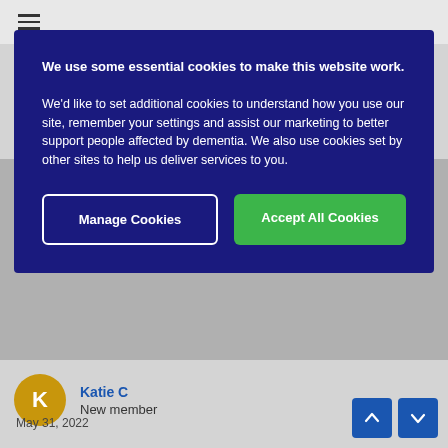☰
We use some essential cookies to make this website work.

We'd like to set additional cookies to understand how you use our site, remember your settings and assist our marketing to better support people affected by dementia. We also use cookies set by other sites to help us deliver services to you.
Manage Cookies | Accept All Cookies
Welcome to the forum. I'm glad you have found the forum and I know that you will get lots of support and understanding here.
Katie C
New member
May 31, 2022